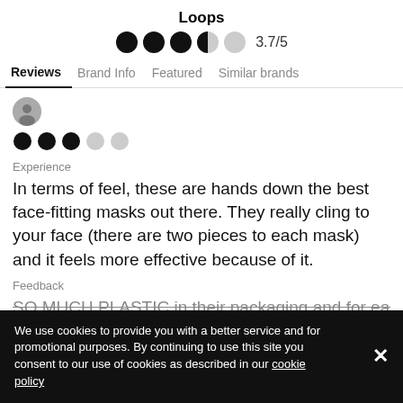Loops
[Figure (infographic): Star/dot rating display showing 3.7/5 with 4 filled dots (3 full, 1 half) and 1 empty dot, followed by text '3.7/5']
Reviews  Brand Info  Featured  Similar brands
[Figure (infographic): 3 filled dots and 2 empty dots (out of 5) representing a 3-star rating for a reviewer]
Experience
In terms of feel, these are hands down the best face-fitting masks out there. They really cling to your face (there are two pieces to each mask) and it feels more effective because of it.
Feedback
SO MUCH PLASTIC in their packaging and for each
We use cookies to provide you with a better service and for promotional purposes. By continuing to use this site you consent to our use of cookies as described in our cookie policy